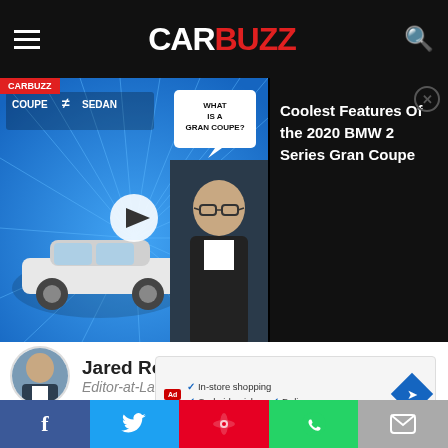CarBuzz
[Figure (screenshot): CarBuzz video thumbnail: Coupe vs Sedan feature with BMW 2 Series Gran Coupe. Title: Coolest Features Of the 2020 BMW 2 Series Gran Coupe]
Coolest Features Of the 2020 BMW 2 Series Gran Coupe
Jared Rosenholtz
Editor-at-Large
After graduating with an MBA, Jared pursued his love of cars by becoming an automotive journalist. An internship with CarBuzz grew into his current position as Editor At Large. Jared now spends most of his time evaluating new vehicles and chasing the latest news stories in the
[Figure (screenshot): Advertisement banner: In-store shopping, Curbside pickup, Delivery checklist with blue diamond map icon]
Facebook Twitter Pinterest WhatsApp Email social share bar